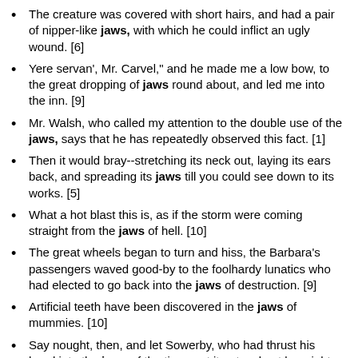The creature was covered with short hairs, and had a pair of nipper-like jaws, with which he could inflict an ugly wound. [6]
Yere servan', Mr. Carvel," and he made me a low bow, to the great dropping of jaws round about, and led me into the inn. [9]
Mr. Walsh, who called my attention to the double use of the jaws, says that he has repeatedly observed this fact. [1]
Then it would bray--stretching its neck out, laying its ears back, and spreading its jaws till you could see down to its works. [5]
What a hot blast this is, as if the storm were coming straight from the jaws of hell. [10]
The great wheels began to turn and hiss, the Barbara's passengers waved good-by to the foolhardy lunatics who had elected to go back into the jaws of destruction. [9]
Artificial teeth have been discovered in the jaws of mummies. [10]
Say nought, then, and let Sowerby, who had thrust his head into the jaws of the tiger, get it out as best he might, or not get it out, as the case might be? [11]